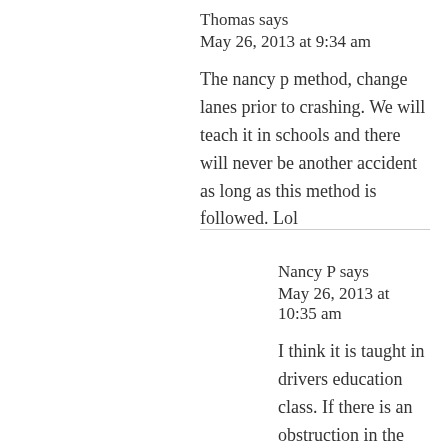Thomas says
May 26, 2013 at 9:34 am
The nancy p method, change lanes prior to crashing. We will teach it in schools and there will never be another accident as long as this method is followed. Lol
Nancy P says
May 26, 2013 at 10:35 am
I think it is taught in drivers education class. If there is an obstruction in the road, slow down and go around it. Why didn't the driver slow down and